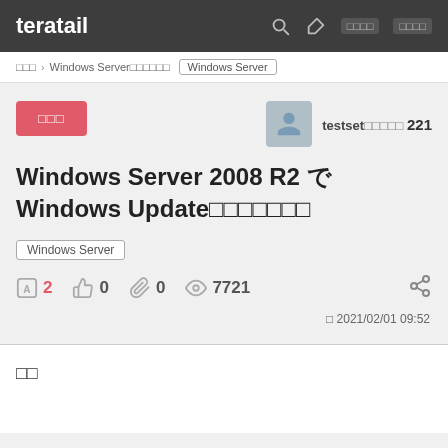teratail
□□□ › Windows Server□□□□□□  Windows Server
□□□
testset□□□□□ 221
Windows Server 2008 R2 でWindows Update□□□□□□□
Windows Server
A 2  👍 0  🔗 0  👁 7721
□ 2021/02/01 09:52
□□